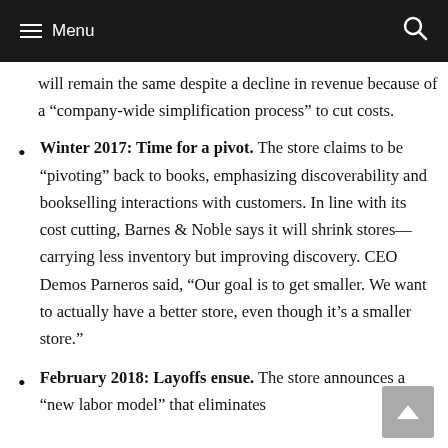Menu
will remain the same despite a decline in revenue because of a “company-wide simplification process” to cut costs.
Winter 2017: Time for a pivot. The store claims to be “pivoting” back to books, emphasizing discoverability and bookselling interactions with customers. In line with its cost cutting, Barnes & Noble says it will shrink stores—carrying less inventory but improving discovery. CEO Demos Parneros said, “Our goal is to get smaller. We want to actually have a better store, even though it’s a smaller store.”
February 2018: Layoffs ensue. The store announces a “new labor model” that eliminates